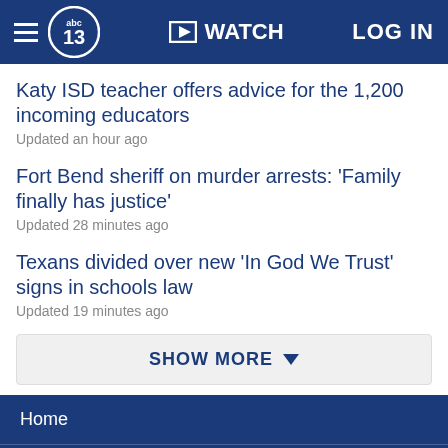abc13 | WATCH | LOG IN
Katy ISD teacher offers advice for the 1,200 incoming educators
Updated an hour ago
Fort Bend sheriff on murder arrests: 'Family finally has justice'
Updated 28 minutes ago
Texans divided over new 'In God We Trust' signs in schools law
Updated 19 minutes ago
SHOW MORE
Home
AccuWeather
Traffic
Local News